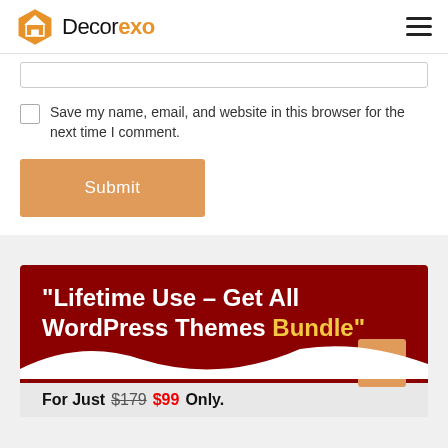Decorexo
[Figure (screenshot): Website form section with a text input field, a checkbox with label 'Save my name, email, and website in this browser for the next time I comment.', and a Submit button in orange.]
[Figure (infographic): Dark red banner with text '"Lifetime Use - Get All WordPress Themes Bundle"' and below a price bar 'For Just $179 $99 Only.' with a scroll-to-top button.]